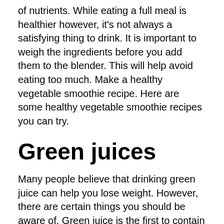of nutrients. While eating a full meal is healthier however, it's not always a satisfying thing to drink. It is important to weigh the ingredients before you add them to the blender. This will help avoid eating too much. Make a healthy vegetable smoothie recipe. Here are some healthy vegetable smoothie recipes you can try.
Green juices
Many people believe that drinking green juice can help you lose weight. However, there are certain things you should be aware of. Green juice is the first to contain oxalic acids. Oxalate, which binds with minerals in food, is an antinutrient. It blocks the body